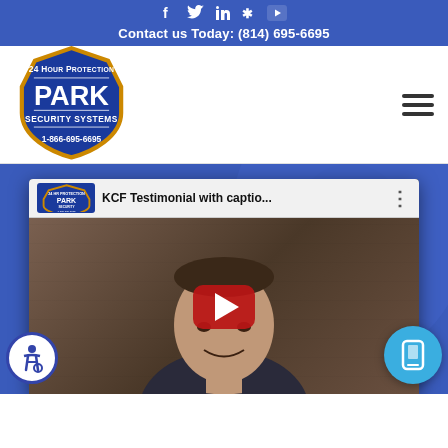Social icons: Facebook, Twitter, LinkedIn, Yelp, YouTube | Contact us Today: (814) 695-6695
[Figure (logo): Park Security Systems shield logo with '24 Hour Protection' and '1-866-695-6695']
[Figure (screenshot): YouTube video embed titled 'KCF Testimonial with captio...' showing a man in a dark shirt with a red play button]
[Figure (other): Accessibility icon button (bottom left) — white circle with wheelchair user symbol in blue]
[Figure (other): Mobile/phone icon button (bottom right) — blue circle with smartphone icon]